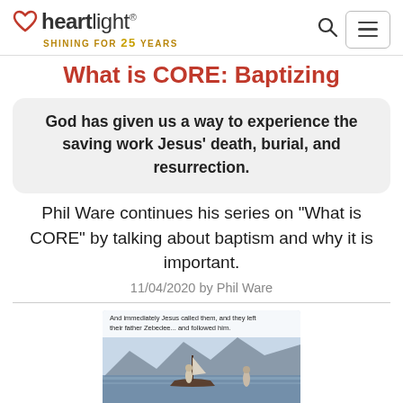heartlight® SHINING FOR 25 YEARS
What is CORE: Baptizing
God has given us a way to experience the saving work Jesus' death, burial, and resurrection.
Phil Ware continues his series on "What is CORE" by talking about baptism and why it is important.
11/04/2020 by Phil Ware
[Figure (photo): Scenic landscape with water and mountains, with two robed figures near a boat. Overlay text reads: And immediately Jesus called them, and they left their father Zebedee... and followed him.]